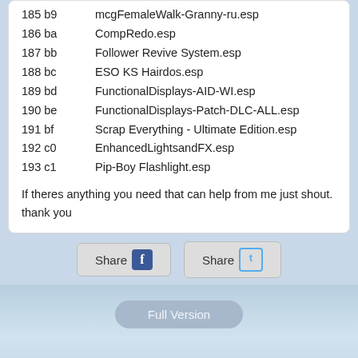185 b9   mcgFemaleWalk-Granny-ru.esp
186 ba   CompRedo.esp
187 bb   Follower Revive System.esp
188 bc   ESO KS Hairdos.esp
189 bd   FunctionalDisplays-AID-WI.esp
190 be   FunctionalDisplays-Patch-DLC-ALL.esp
191 bf   Scrap Everything - Ultimate Edition.esp
192 c0   EnhancedLightsandFX.esp
193 c1   Pip-Boy Flashlight.esp
If theres anything you need that can help from me just shout. thank you
[Figure (other): Share on Facebook and Share on Twitter buttons]
Full Version
Page loaded in: 1.071 seconds